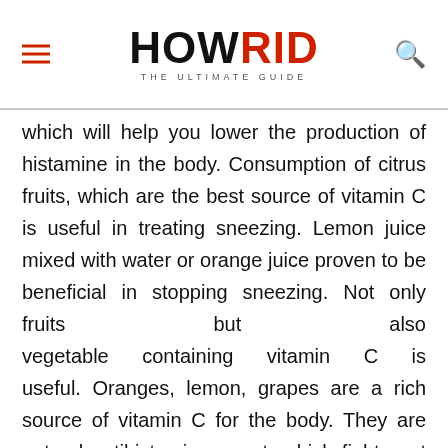HOWRID THE ULTIMATE GUIDE
which will help you lower the production of histamine in the body. Consumption of citrus fruits, which are the best source of vitamin C is useful in treating sneezing. Lemon juice mixed with water or orange juice proven to be beneficial in stopping sneezing. Not only fruits but also vegetable containing vitamin C is useful. Oranges, lemon, grapes are a rich source of vitamin C for the body. They are natural antihistamine agent, which fights out the irritants producing histamine. Taking a diet rich of vitamin C foods will help to stop sneezing and mucus.